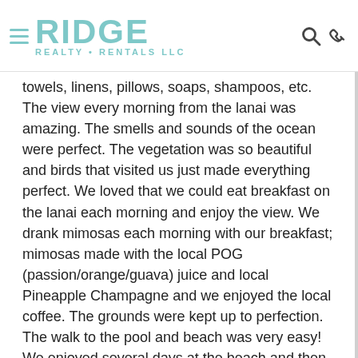RIDGE REALTY • RENTALS LLC
towels, linens, pillows, soaps, shampoos, etc. The view every morning from the lanai was amazing. The smells and sounds of the ocean were perfect. The vegetation was so beautiful and birds that visited us just made everything perfect. We loved that we could eat breakfast on the lanai each morning and enjoy the view. We drank mimosas each morning with our breakfast; mimosas made with the local POG (passion/orange/guava) juice and local Pineapple Champagne and we enjoyed the local coffee. The grounds were kept up to perfection. The walk to the pool and beach was very easy! We enjoyed several days at the beach and then followed it up by picnicking and swimming at the pool as well! Hiking the coastal trail is a must! We saw sea turtles on our last swim in the ocean. We enjoyed the restaurants nearby at the Ritz and next to the golf course and we shopped at the little grocery store nearby as well. I can't say enough of how amazing our FIRST trip to Maui was!! I